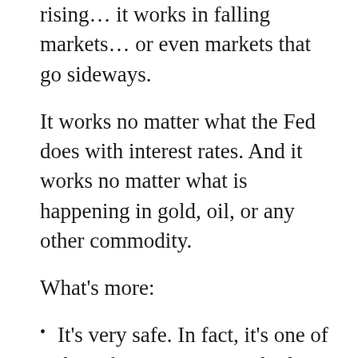Not just when stocks are rising… it works in falling markets… or even markets that go sideways.
It works no matter what the Fed does with interest rates. And it works no matter what is happening in gold, oil, or any other commodity.
What's more:
It's very safe. In fact, it's one of the safest investing methods I've found in my